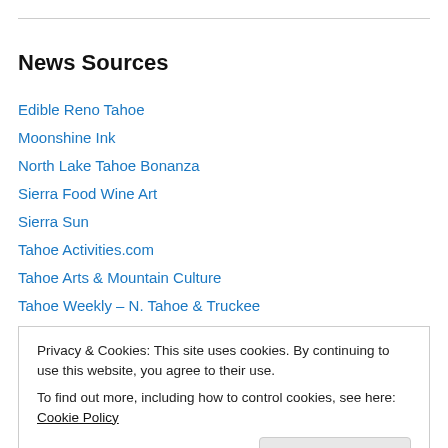News Sources
Edible Reno Tahoe
Moonshine Ink
North Lake Tahoe Bonanza
Sierra Food Wine Art
Sierra Sun
Tahoe Activities.com
Tahoe Arts & Mountain Culture
Tahoe Weekly – N. Tahoe & Truckee
Truckee River Watershed Council
Truckee Tahoe Radio
Privacy & Cookies: This site uses cookies. By continuing to use this website, you agree to their use. To find out more, including how to control cookies, see here: Cookie Policy
Close and accept